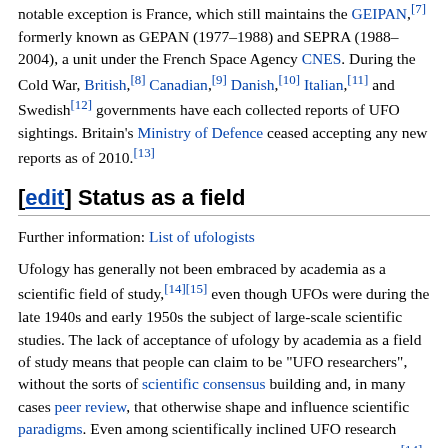notable exception is France, which still maintains the GEIPAN,[7] formerly known as GEPAN (1977–1988) and SEPRA (1988–2004), a unit under the French Space Agency CNES. During the Cold War, British,[8] Canadian,[9] Danish,[10] Italian,[11] and Swedish[12] governments have each collected reports of UFO sightings. Britain's Ministry of Defence ceased accepting any new reports as of 2010.[13]
[edit] Status as a field
Further information: List of ufologists
Ufology has generally not been embraced by academia as a scientific field of study,[14][15] even though UFOs were during the late 1940s and early 1950s the subject of large-scale scientific studies. The lack of acceptance of ufology by academia as a field of study means that people can claim to be "UFO researchers", without the sorts of scientific consensus building and, in many cases peer review, that otherwise shape and influence scientific paradigms. Even among scientifically inclined UFO research efforts, data collecting is often done by amateur investigators.[14]
Famous mainstream scientists who have shown interest in the UFO